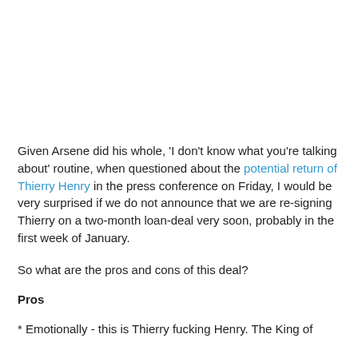Given Arsene did his whole, 'I don't know what you're talking about' routine, when questioned about the potential return of Thierry Henry in the press conference on Friday, I would be very surprised if we do not announce that we are re-signing Thierry on a two-month loan-deal very soon, probably in the first week of January.
So what are the pros and cons of this deal?
Pros
* Emotionally - this is Thierry fucking Henry. The King of